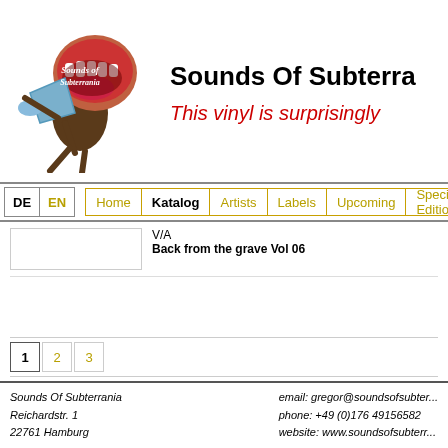[Figure (logo): Sounds of Subterrania logo with illustrated character shouting into a megaphone/mouth]
Sounds Of Subterr...
This vinyl is surprisingly...
DE | EN | Home | Katalog | Artists | Labels | Upcoming | Special-Editions
V/A
Back from the grave Vol 06
1 2 3
Sounds Of Subterrania
Reichardstr. 1
22761 Hamburg
email: gregor@soundsofsubter...
phone: +49 (0)176 49156582
website: www.soundsofsubterr...